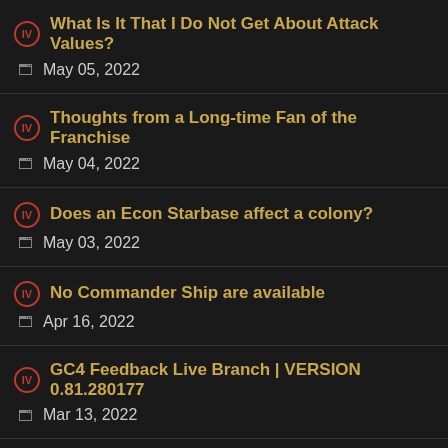What Is It That I Do Not Get About Attack Values?
May 05, 2022
Thoughts from a Long-time Fan of the Franchise
May 04, 2022
Does an Econ Starbase affect a colony?
May 03, 2022
No Commander Ship are available
Apr 16, 2022
GC4 Feedback Live Branch | VERSION 0.81.280177
Mar 13, 2022
GalCiv IV Dev Journal #8 - Rise of the Commanders
Feb 23, 2022